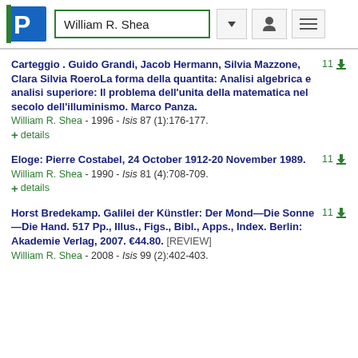William R. Shea
Carteggio . Guido Grandi, Jacob Hermann, Silvia Mazzone, Clara Silvia RoeroLa forma della quantita: Analisi algebrica e analisi superiore: Il problema dell'unita della matematica nel secolo dell'illuminismo. Marco Panza.
William R. Shea - 1996 - Isis 87 (1):176-177.
+ details
Eloge: Pierre Costabel, 24 October 1912-20 November 1989.
William R. Shea - 1990 - Isis 81 (4):708-709.
+ details
Horst Bredekamp. Galilei der Künstler: Der Mond—Die Sonne—Die Hand. 517 Pp., Illus., Figs., Bibl., Apps., Index. Berlin: Akademie Verlag, 2007. €44.80. [REVIEW]
William R. Shea - 2008 - Isis 99 (2):402-403.